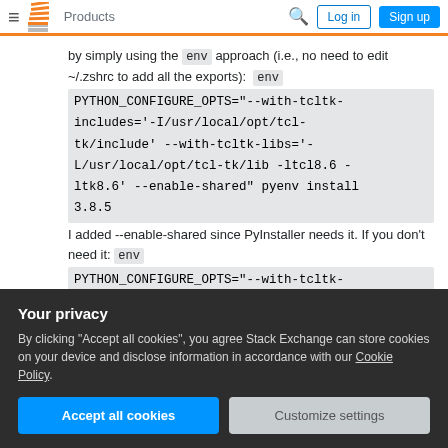Stack Overflow navigation bar with Products, Log in, Sign up
by simply using the env approach (i.e., no need to edit ~/.zshrc to add all the exports): env PYTHON_CONFIGURE_OPTS="--with-tcltk-includes='-I/usr/local/opt/tcl-tk/include' --with-tcltk-libs='-L/usr/local/opt/tcl-tk/lib -ltcl8.6 -ltk8.6' --enable-shared" pyenv install 3.8.5 I added --enable-shared since PyInstaller needs it. If you don't need it: env PYTHON_CONFIGURE_OPTS="--with-tcltk-includes='-I/usr/local/opt/tcl-tk/include' --with-tcltk-libs='-L/usr/local/opt/tcl-tk/lib -ltcl8.6 -
Your privacy
By clicking "Accept all cookies", you agree Stack Exchange can store cookies on your device and disclose information in accordance with our Cookie Policy.
hope -- I'll do without fails. Python infrastructure is a complete and utter mess.